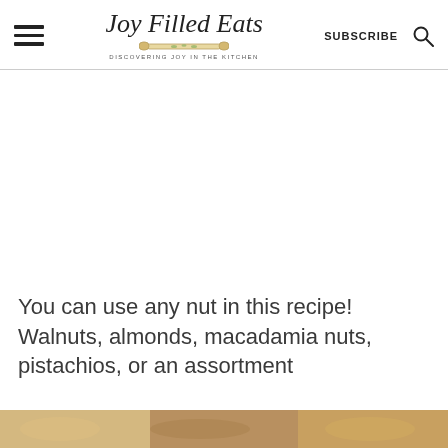Joy Filled Eats — DISCOVERING JOY IN THE KITCHEN | SUBSCRIBE
[Figure (photo): White/blank main content image area in the center of the page]
You can use any nut in this recipe! Walnuts, almonds, macadamia nuts, pistachios, or an assortment
[Figure (photo): Bottom partial image strip showing food/nuts]